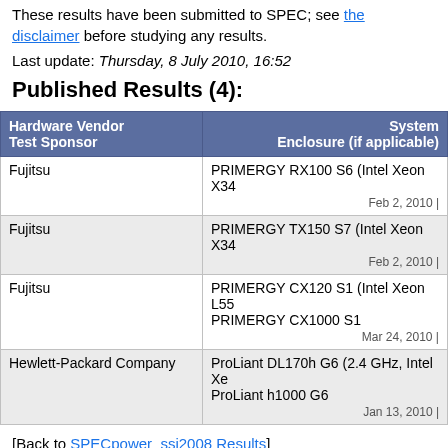These results have been submitted to SPEC; see the disclaimer before studying any results.
Last update: Thursday, 8 July 2010, 16:52
Published Results (4):
| Hardware Vendor
Test Sponsor | System
Enclosure (if applicable) |
| --- | --- |
| Fujitsu | PRIMERGY RX100 S6 (Intel Xeon X34...
Feb 2, 2010 | |
| Fujitsu | PRIMERGY TX150 S7 (Intel Xeon X34...
Feb 2, 2010 | |
| Fujitsu | PRIMERGY CX120 S1 (Intel Xeon L55... PRIMERGY CX1000 S1
Mar 24, 2010 | |
| Hewlett-Packard Company | ProLiant DL170h G6 (2.4 GHz, Intel Xe... ProLiant h1000 G6
Jan 13, 2010 | |
[Back to SPECpower_ssj2008 Results]